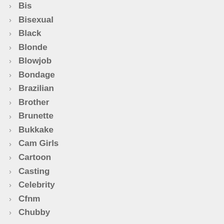Bis
Bisexual
Black
Blonde
Blowjob
Bondage
Brazilian
Brother
Brunette
Bukkake
Cam Girls
Cartoon
Casting
Celebrity
Cfnm
Chubby